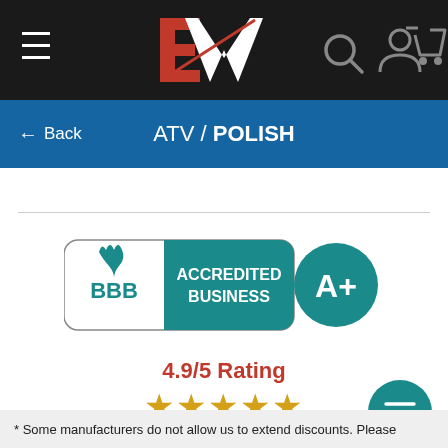[Figure (screenshot): Dark navigation bar with hamburger menu, EW logo (red E and white W), search icon, user icon, and cart icon]
← Back   ATV / POLISH
[Figure (logo): BBB Accredited Business badge with teal background and A+ rating circle]
4.9/5 Rating
★★★★★
8000+ Verified Reviews
[Figure (illustration): Teal circular filter/sort button with horizontal lines icon]
* Some manufacturers do not allow us to extend discounts. Please